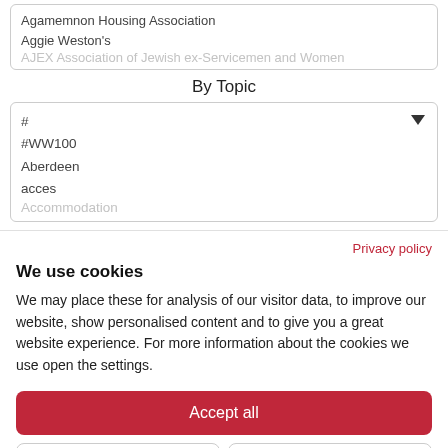Agamemnon Housing Association
Aggie Weston's
AJEX Association of Jewish ex-Servicemen and Women
By Topic
#
#WW100
Aberdeen
acces
Accommodation
Privacy policy
We use cookies
We may place these for analysis of our visitor data, to improve our website, show personalised content and to give you a great website experience. For more information about the cookies we use open the settings.
Accept all
No, adjust
Deny